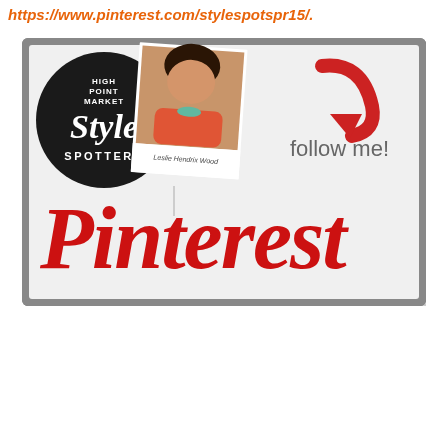https://www.pinterest.com/stylespotspr15/.
[Figure (infographic): Pinterest Style Spotters promotional banner featuring High Point Market Style Spotters logo (black circle with 'Style Spotters' text), a polaroid photo of Leslie Hendrix Wood, a red curved arrow icon, 'follow me!' text, and large red Pinterest wordmark logo. Grey bordered card on white background.]